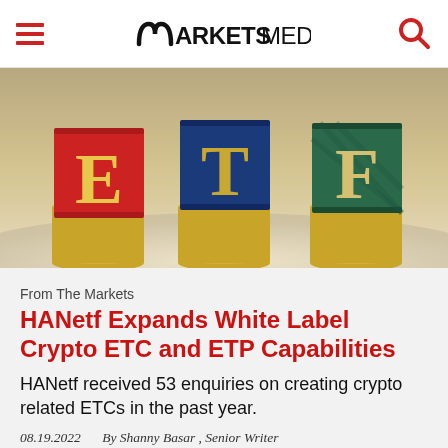MARKETSMEDIA
[Figure (photo): Three stacks of coins topped with colorful letter blocks spelling 'ETF' — a red block with 'E', a blue block with 'T', and a green block with 'F', photographed on a light background.]
From The Markets
HANetf Expands White Label Crypto ETC and ETP Capabilities
HANetf received 53 enquiries on creating crypto related ETCs in the past year.
08.19.2022   By Shanny Basar , Senior Writer